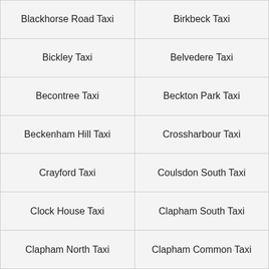Blackhorse Road Taxi
Birkbeck Taxi
Bickley Taxi
Belvedere Taxi
Becontree Taxi
Beckton Park Taxi
Beckenham Hill Taxi
Crossharbour Taxi
Crayford Taxi
Coulsdon South Taxi
Clock House Taxi
Clapham South Taxi
Clapham North Taxi
Clapham Common Taxi